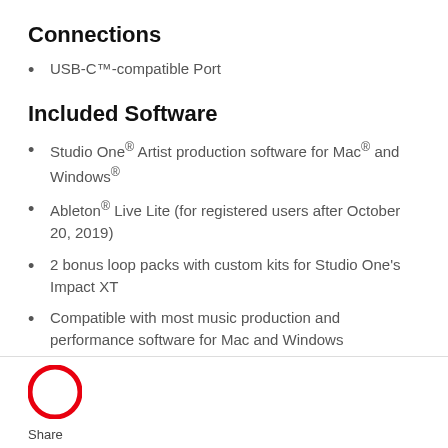Connections
USB-C™-compatible Port
Included Software
Studio One® Artist production software for Mac® and Windows®
Ableton® Live Lite (for registered users after October 20, 2019)
2 bonus loop packs with custom kits for Studio One's Impact XT
Compatible with most music production and performance software for Mac and Windows
[Figure (logo): Red circular logo/share icon]
Share